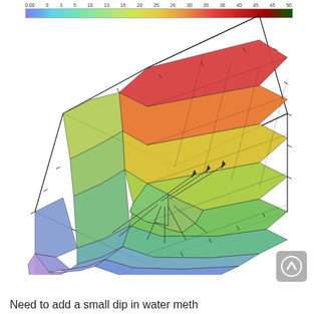[Figure (continuous-plot): 3D surface plot showing a colored mesh surface with a peak (red/warm colors, high values ~50) in the upper region and a dip/valley in the middle-front area, with cool colors (blue/green) at low values. A colorbar at the top shows the value range from approximately 0 to 50. Lines radiating from the dip are visible. The surface transitions from blue (low) at front to green, yellow, orange, red (high) at back/top.]
Need to add a small dip in water meth